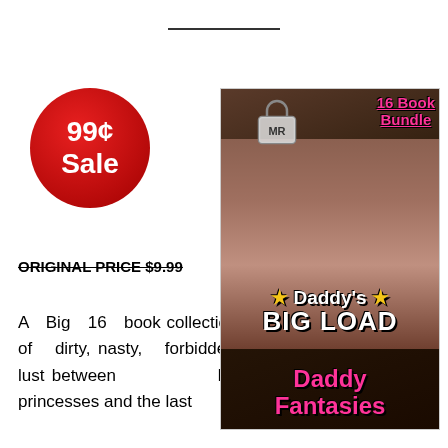[Figure (other): Red circular sale badge with white text reading '99¢ Sale']
ORIGINAL PRICE $9.99
A Big 16 book collection of dirty, nasty, forbidden lust between little princesses and the last
[Figure (illustration): Book cover for 'Daddy's BIG LOAD - Daddy Fantasies' 16 Book Bundle, showing a couple, with pink and white stylized text and a lock/MR logo icon at the top]